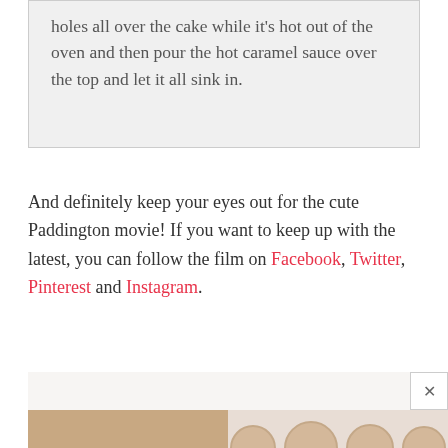holes all over the cake while it's hot out of the oven and then pour the hot caramel sauce over the top and let it all sink in.
And definitely keep your eyes out for the cute Paddington movie!  If you want to keep up with the latest, you can follow the film on Facebook, Twitter, Pinterest and Instagram.
[Figure (photo): Advertisement image showing London-branded box on left and small circular containers on right against a warm beige background, with a close (X) button in upper right corner]